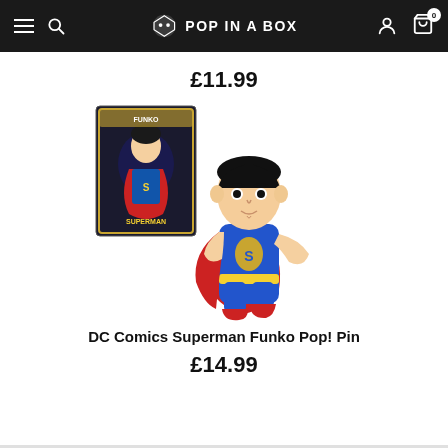POP IN A BOX
£11.99
[Figure (photo): DC Comics Superman Funko Pop! Pin product image showing a large enamel pin of Superman character in flying pose with blue costume and red cape, alongside the product packaging box]
DC Comics Superman Funko Pop! Pin
£14.99